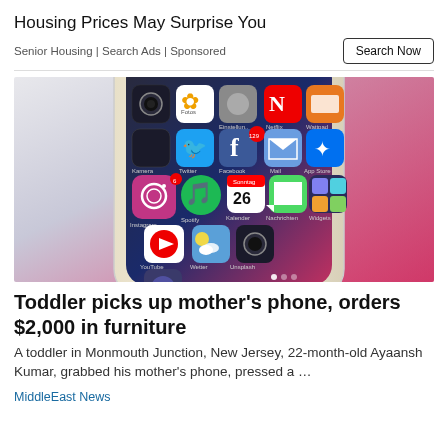Housing Prices May Surprise You
Senior Housing | Search Ads | Sponsored
[Figure (photo): A close-up photo of an iPhone displaying its home screen with various app icons including Instagram, Facebook, Twitter, YouTube, Spotify, Netflix, Wattpad, App Store, and other apps visible on the screen.]
Toddler picks up mother's phone, orders $2,000 in furniture
A toddler in Monmouth Junction, New Jersey, 22-month-old Ayaansh Kumar, grabbed his mother's phone, pressed a …
MiddleEast News